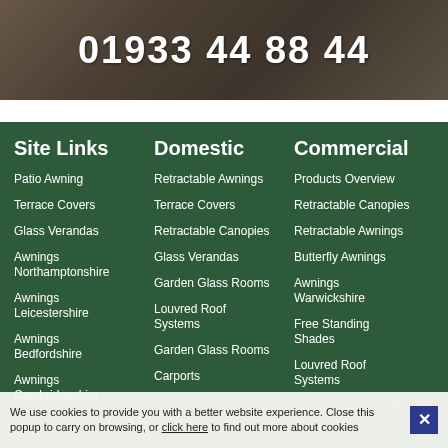[Figure (photo): Dark banner with room/interior background image showing the phone number 01933 44 88 44 in large white bold text]
Site Links
Patio Awning
Terrace Covers
Glass Verandas
Awnings Northamptonshire
Awnings Leicestershire
Awnings Bedfordshire
Awnings Cambridgeshire
Domestic
Retractable Awnings
Terrace Covers
Retractable Canopies
Glass Verandas
Garden Glass Rooms
Louvred Roof Systems
Garden Glass Rooms
Carports
Commercial
Products Overview
Retractable Canopies
Retractable Awnings
Butterfly Awnings
Awnings Warwickshire
Free Standing Shades
Louvred Roof Systems
Commercial Carports
We use cookies to provide you with a better website experience. Close this popup to carry on browsing, or click here to find out more about cookies